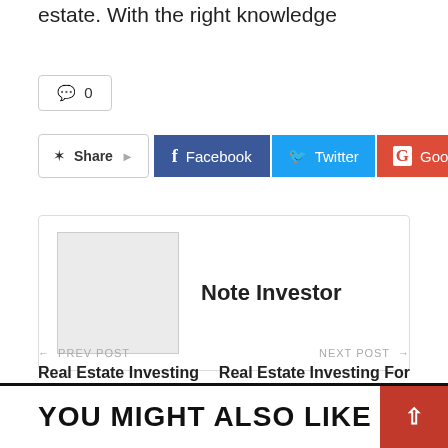estate. With the right knowledge
💬 0
Share  Facebook  Twitter  Google+  +
Note Investor
← PREV POST
Real Estate Investing With 401k
NEXT POST →
Real Estate Investing For Everyday Investors
YOU MIGHT ALSO LIKE